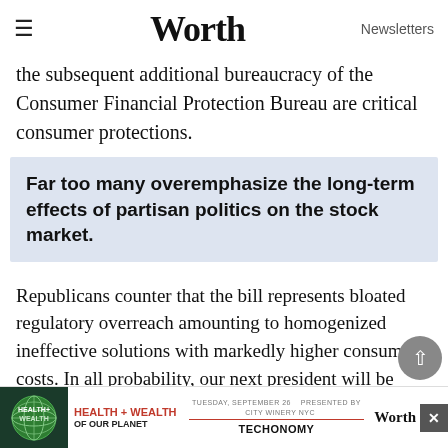Worth | Newsletters
the subsequent additional bureaucracy of the Consumer Financial Protection Bureau are critical consumer protections.
Far too many overemphasize the long-term effects of partisan politics on the stock market.
Republicans counter that the bill represents bloated regulatory overreach amounting to homogenized ineffective solutions with markedly higher consumer costs. In all probability, our next president will be either facilitating reform/repeal of the Dodd Frank bill or wielding ... Ultima ... y tip